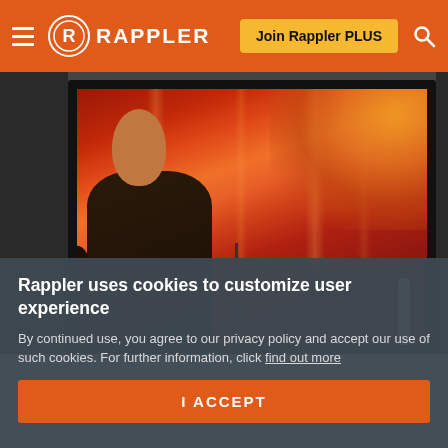RAPPLER — Join Rappler PLUS
[Figure (photo): A man speaking at what appears to be a Chinese government or official event, shown on a monitor/TV screen. Red curtain in the background. The man is wearing a dark jacket.]
Rappler uses cookies to customize user experience
By continued use, you agree to our privacy policy and accept our use of such cookies. For further information, click find out more
I ACCEPT